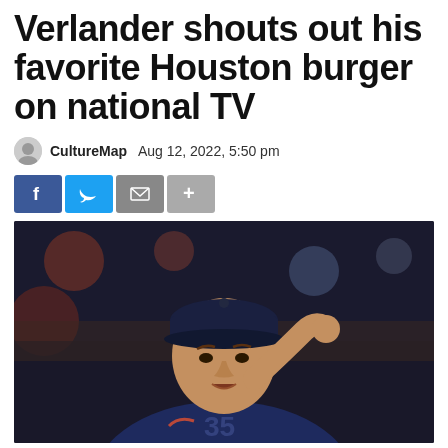Verlander shouts out his favorite Houston burger on national TV
CultureMap   Aug 12, 2022, 5:50 pm
[Figure (other): Social sharing buttons: Facebook (blue), Twitter (light blue), Email (grey), More (grey plus)]
[Figure (photo): Photo of Justin Verlander in a navy Houston Astros uniform, hand raised to his cap brim, looking upward, with a blurred stadium crowd in the background]